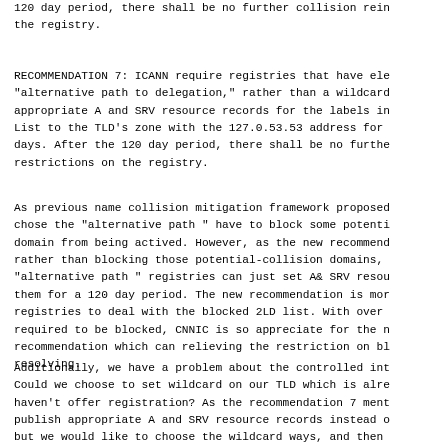120 day period, there shall be no further collision rein the registry.
RECOMMENDATION 7: ICANN require registries that have ele "alternative path to delegation," rather than a wildcard appropriate A and SRV resource records for the labels in List to the TLD's zone with the 127.0.53.53 address for days. After the 120 day period, there shall be no furthe restrictions on the registry.
As previous name collision mitigation framework proposed chose the "alternative path " have to block some potenti domain from being actived. However, as the new recommend rather than blocking those potential-collision domains, "alternative path " registries can just set A& SRV resou them for a 120 day period. The new recommendation is mor registries to deal with the blocked 2LD list. With over required to be blocked, CNNIC is so appreciate for the n recommendation which can relieving the restriction on bl resolving.
Additionally, we have a problem about the controlled int Could we choose to set wildcard on our TLD which is alre haven't offer registration? As the recommendation 7 ment publish appropriate A and SRV resource records instead o but we would like to choose the wildcard ways, and then after 120 day after wild card setting. Could this choice